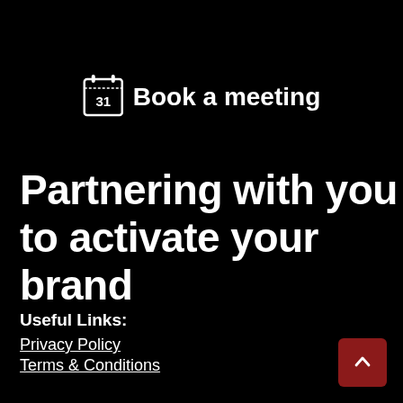[Figure (logo): Calendar icon with '31' and 'Book a meeting' text beside it]
Partnering with you to activate your brand
Useful Links:
Privacy Policy
Terms & Conditions